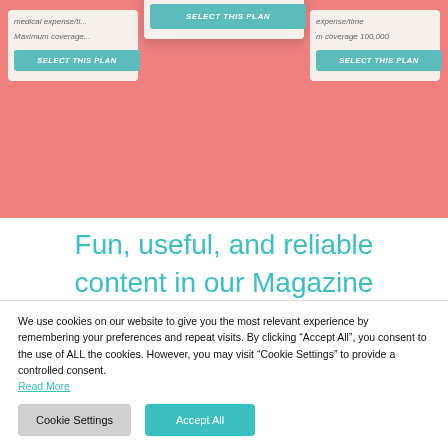[Figure (screenshot): Pink background section showing three insurance plan cards with 'SELECT THIS PLAN' buttons. Left card shows 'medical expense/ti...' and 'Maximum coverage...', middle card (elevated, selected) shows 'SELECT THIS PLAN' button in teal, right card shows 'expense/time' and 'm coverage 100,000' with 'SELECT THIS PLAN' button.]
Fun, useful, and reliable
content in our Magazine
We use cookies on our website to give you the most relevant experience by remembering your preferences and repeat visits. By clicking “Accept All”, you consent to the use of ALL the cookies. However, you may visit “Cookie Settings” to provide a controlled consent.
Read More
Cookie Settings
Accept All